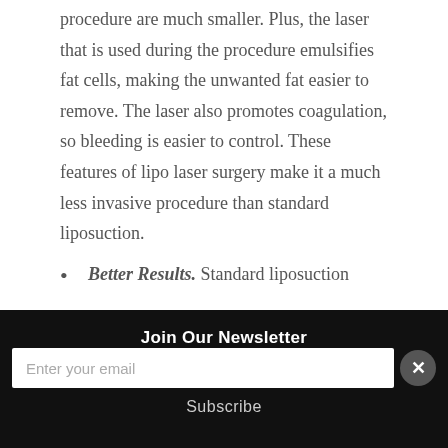procedure are much smaller. Plus, the laser that is used during the procedure emulsifies fat cells, making the unwanted fat easier to remove. The laser also promotes coagulation, so bleeding is easier to control. These features of lipo laser surgery make it a much less invasive procedure than standard liposuction.
Better Results. Standard liposuction
Join Our Newsletter
Enter your email
Subscribe